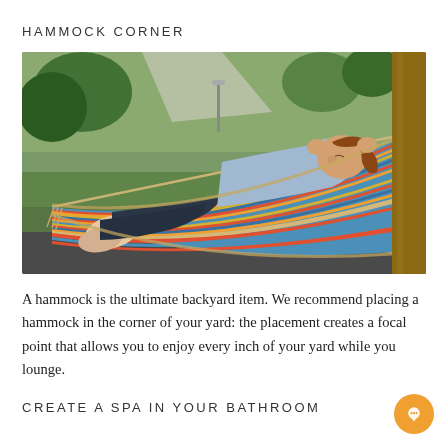HAMMOCK CORNER
[Figure (photo): A young woman with a ponytail, wearing a light blue shirt and dark jeans, lounging on a colorful striped hammock in a backyard garden setting. The hammock has stripes in blue, red, orange, yellow, and teal. She is relaxed with her hands behind her head, looking up. Green plants and a pathway are visible in the background. The hammock is strung between a wooden post and a tree or support.]
A hammock is the ultimate backyard item. We recommend placing a hammock in the corner of your yard: the placement creates a focal point that allows you to enjoy every inch of your yard while you lounge.
CREATE A SPA IN YOUR BATHROOM